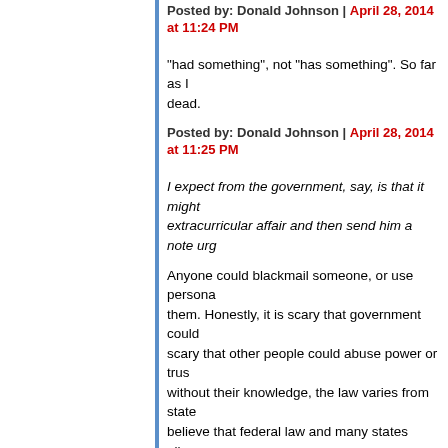Posted by: Donald Johnson | April 28, 2014 at 11:24 PM
"had something", not "has something". So far as I know, he's dead.
Posted by: Donald Johnson | April 28, 2014 at 11:25 PM
I expect from the government, say, is that it might notice his extracurricular affair and then send him a note urg...
Anyone could blackmail someone, or use personal information against them. Honestly, it is scary that government could ... scary that other people could abuse power or trust... without their knowledge, the law varies from state... believe that federal law and many states allow rec... conversation consents. In other words, if the girlfr... it was okay under most state laws and federal law...
The fact is, this scenario would never have come... Constitution was drafted, either as a matter of co... It seems to me that "expectation of privacy" is hug... allowed to record and publish private conversatio... consent. But the issue of "expectation of privacy"... of government.